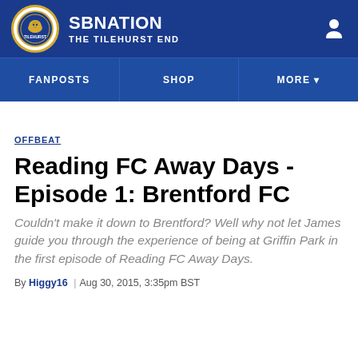SB NATION | THE TILEHURST END
FANPOSTS | SHOP | MORE
OFFBEAT
Reading FC Away Days - Episode 1: Brentford FC
Couldn't make it down to Brentford? Well why not let James guide you through the experience of being at Griffin Park in the first episode of Reading FC Away Days.
By Higgy16 | Aug 30, 2015, 3:35pm BST